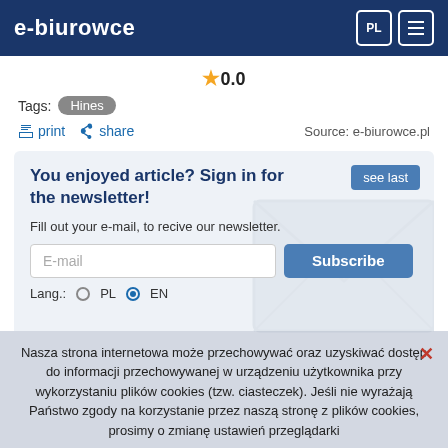e-biurowce
★ 0.0
Tags: Hines
print  share  Source: e-biurowce.pl
You enjoyed article? Sign in for the newsletter!
Fill out your e-mail, to recive our newsletter.
E-mail  Subscribe
Lang.: PL  EN
Nasza strona internetowa może przechowywać oraz uzyskiwać dostęp do informacji przechowywanej w urządzeniu użytkownika przy wykorzystaniu plików cookies (tzw. ciasteczek). Jeśli nie wyrażają Państwo zgody na korzystanie przez naszą stronę z plików cookies, prosimy o zmianę ustawień przeglądarki